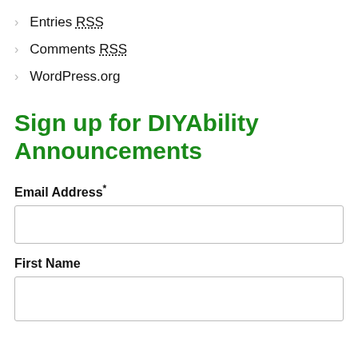Entries RSS
Comments RSS
WordPress.org
Sign up for DIYAbility Announcements
Email Address*
First Name